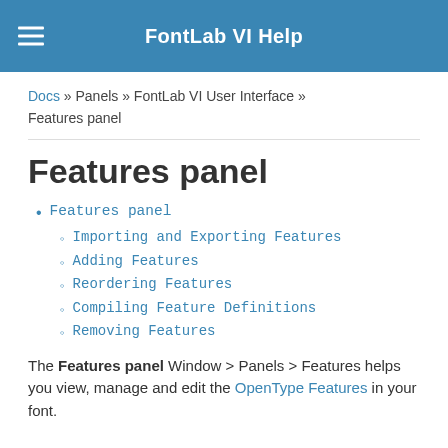FontLab VI Help
Docs » Panels » FontLab VI User Interface » Features panel
Features panel
Features panel
Importing and Exporting Features
Adding Features
Reordering Features
Compiling Feature Definitions
Removing Features
The Features panel Window > Panels > Features helps you view, manage and edit the OpenType Features in your font.